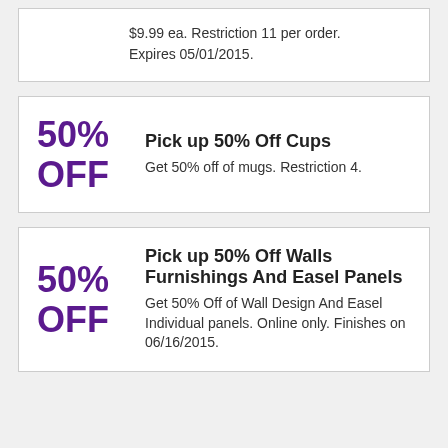$9.99 ea. Restriction 11 per order. Expires 05/01/2015.
50% OFF
Pick up 50% Off Cups
Get 50% off of mugs. Restriction 4.
50% OFF
Pick up 50% Off Walls Furnishings And Easel Panels
Get 50% Off of Wall Design And Easel Individual panels. Online only. Finishes on 06/16/2015.